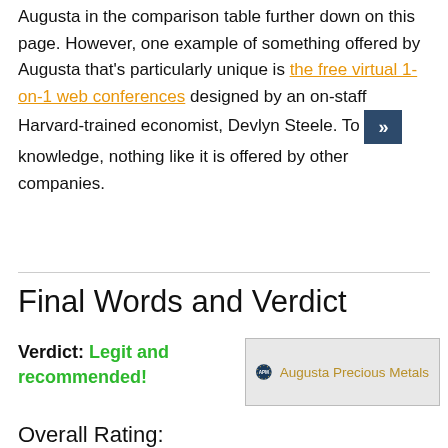Augusta in the comparison table further down on this page. However, one example of something offered by Augusta that's particularly unique is the free virtual 1-on-1 web conferences designed by an on-staff Harvard-trained economist, Devlyn Steele. To [our] knowledge, nothing like it is offered by other companies.
Final Words and Verdict
Verdict: Legit and recommended!
[Figure (logo): Augusta Precious Metals logo — circular dark blue badge with 'APM' in white text, beside the text 'Augusta Precious Metals' in gold/brown on a light grey background.]
Overall Rating: